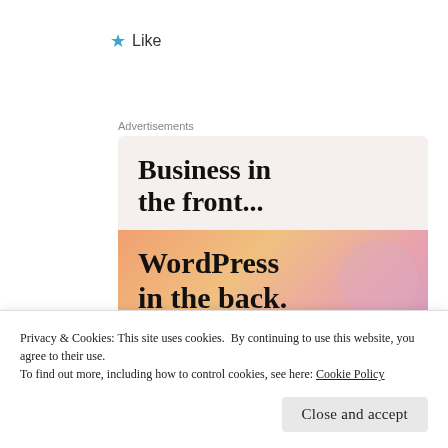★ Like
Advertisements
[Figure (screenshot): WordPress advertisement banner with two sections: top section on light beige background reading 'Business in the front...' in bold serif font; bottom section on orange/pink gradient background reading 'WordPress in the back.' in bold serif font]
Privacy & Cookies: This site uses cookies. By continuing to use this website, you agree to their use.
To find out more, including how to control cookies, see here: Cookie Policy
Close and accept